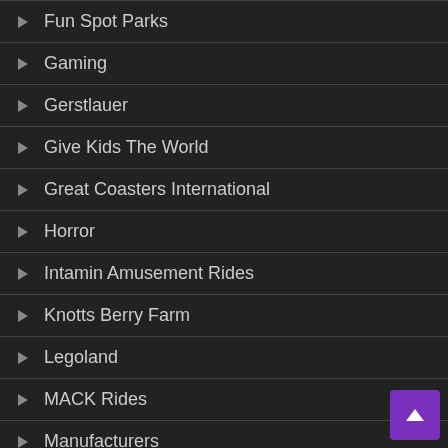Fun Spot Parks
Gaming
Gerstlauer
Give Kids The World
Great Coasters International
Horror
Intamin Amusement Rides
Knotts Berry Farm
Legoland
MACK Rides
Manufacturers
News